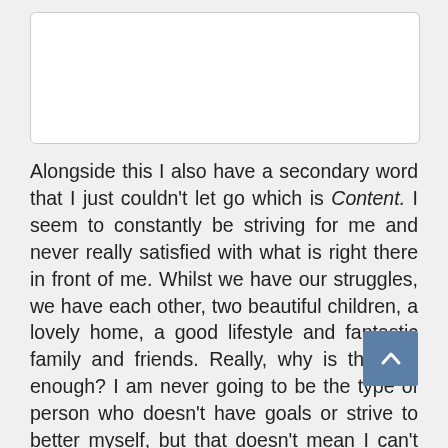[Figure (other): White rectangular image placeholder with rounded corners and light gray border]
Alongside this I also have a secondary word that I just couldn't let go which is Content. I seem to constantly be striving for me and never really satisfied with what is right there in front of me. Whilst we have our struggles, we have each other, two beautiful children, a lovely home, a good lifestyle and fantastic family and friends. Really, why is that not enough? I am never going to be the type of person who doesn't have goals or strive to better myself, but that doesn't mean I can't be happy with where I am right now and appreciate the moments. With this in m have created a Pinterest board as a visual aid to refresh my inspiration and keep